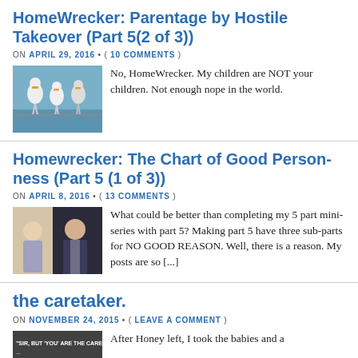HomeWrecker: Parentage by Hostile Takeover (Part 5(2 of 3))
ON APRIL 29, 2016 • ( 10 COMMENTS )
[Figure (photo): Photo of animated storks/seagulls on a wire]
No, HomeWrecker. My children are NOT your children. Not enough nope in the world.
Homewrecker: The Chart of Good Person-ness (Part 5 (1 of 3))
ON APRIL 8, 2016 • ( 13 COMMENTS )
[Figure (photo): Photo of two people, one older woman and a man in a suit]
What could be better than completing my 5 part mini-series with part 5? Making part 5 have three sub-parts for NO GOOD REASON. Well, there is a reason. My posts are so [...]
the caretaker.
ON NOVEMBER 24, 2015 • ( LEAVE A COMMENT )
[Figure (photo): Photo with text overlay about caretaker]
After Honey left, I took the babies and a